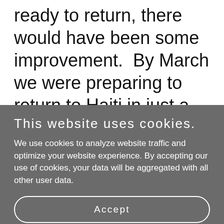ready to return, there would have been some improvement.  By March we were preparing to return to Haiti in just a few weeks, and part of that preparation included a kidnapping contingency plan
This website uses cookies.
We use cookies to analyze website traffic and optimize your website experience. By accepting our use of cookies, your data will be aggregated with all other user data.
Accept